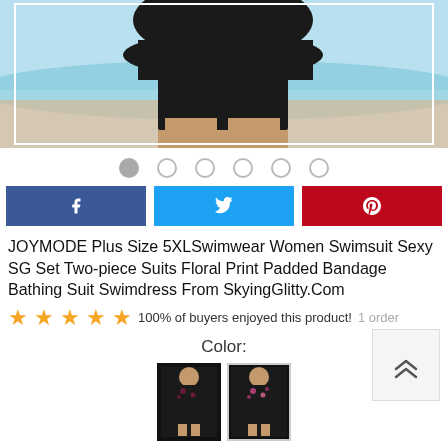[Figure (photo): Product photo of a person wearing a black swimsuit/swimdress, cropped to show torso and hips, with beach background (sand and turquoise water).]
[Figure (infographic): Image carousel navigation dots — 6 dots, first one filled/active, rest empty circles.]
[Figure (infographic): Social sharing buttons row: Facebook (blue), Twitter (light blue), Pinterest (red).]
JOYMODE Plus Size 5XLSwimwear Women Swimsuit Sexy SG Set Two-piece Suits Floral Print Padded Bandage Bathing Suit Swimdress From SkyingGlitty.Com
100% of buyers enjoyed this product!  1 order
Color:
[Figure (photo): Two color variant thumbnail images of the swimsuit/swimdress product. First is unselected (dark floral), second is selected with a border (dark floral with lighter print).]